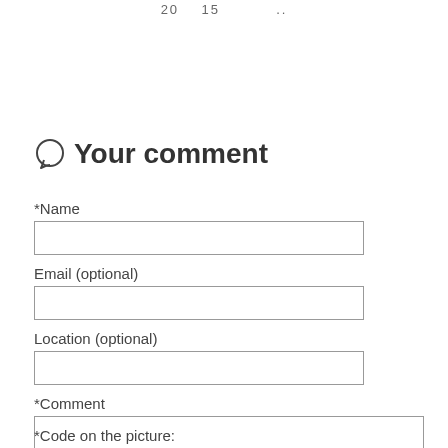20    15
Your comment
*Name
Email (optional)
Location (optional)
*Comment
*Code on the picture: